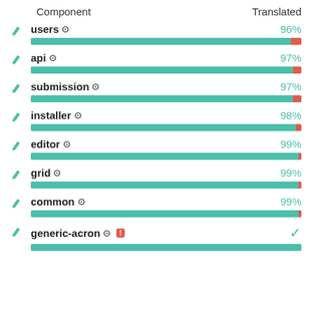| Component | Translated |
| --- | --- |
| users | 96% |
| api | 97% |
| submission | 97% |
| installer | 98% |
| editor | 99% |
| grid | 99% |
| common | 99% |
| generic-acron | ✓ |